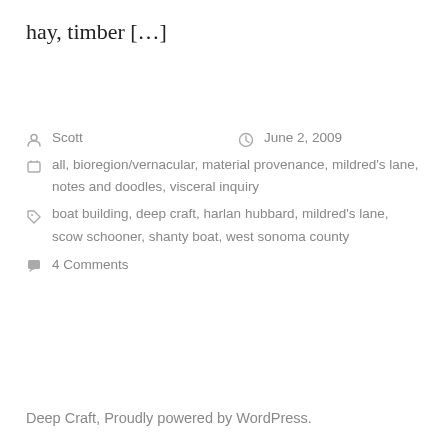hay, timber […]
Scott  June 2, 2009
all, bioregion/vernacular, material provenance, mildred's lane, notes and doodles, visceral inquiry
boat building, deep craft, harlan hubbard, mildred's lane, scow schooner, shanty boat, west sonoma county
4 Comments
Deep Craft, Proudly powered by WordPress.